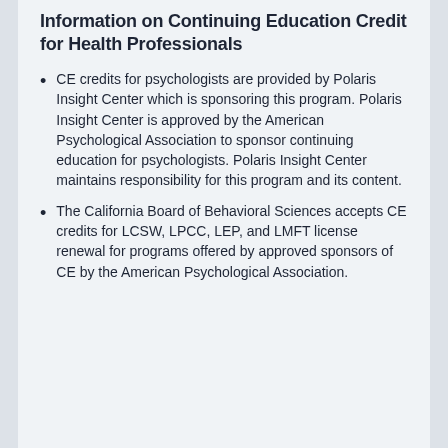Information on Continuing Education Credit for Health Professionals
CE credits for psychologists are provided by Polaris Insight Center which is sponsoring this program. Polaris Insight Center is approved by the American Psychological Association to sponsor continuing education for psychologists. Polaris Insight Center maintains responsibility for this program and its content.
The California Board of Behavioral Sciences accepts CE credits for LCSW, LPCC, LEP, and LMFT license renewal for programs offered by approved sponsors of CE by the American Psychological Association.